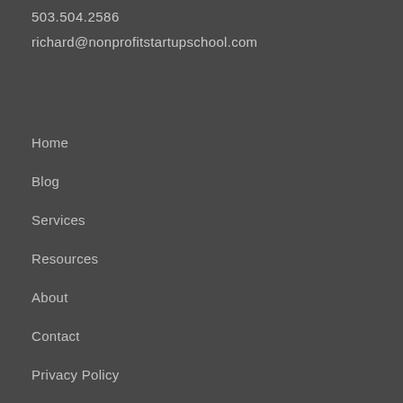503.504.2586
richard@nonprofitstartupschool.com
Home
Blog
Services
Resources
About
Contact
Privacy Policy
Terms of Service